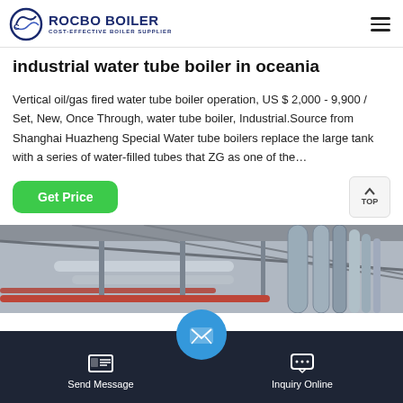[Figure (logo): Rocbo Boiler logo with circular emblem and text 'ROCBO BOILER / COST-EFFECTIVE BOILER SUPPLIER']
industrial water tube boiler in oceania
Vertical oil/gas fired water tube boiler operation, US $ 2,000 - 9,900 / Set, New, Once Through, water tube boiler, Industrial.Source from Shanghai Huazheng Special Water tube boilers replace the large tank with a series of water-filled tubes that ZG as one of the…
[Figure (photo): Industrial interior showing large metallic pipes and tubes running along the ceiling of a factory building]
Send Message | Inquiry Online